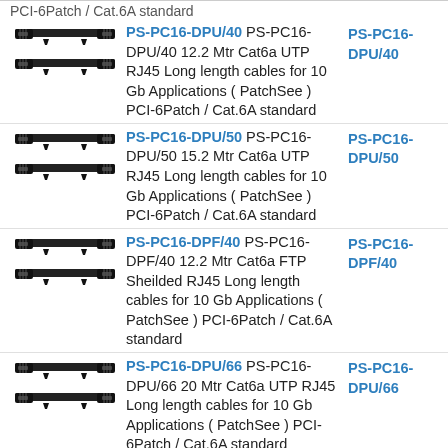PCI-6Patch / Cat.6A standard
PS-PC16-DPU/40 PS-PC16-DPU/40 12.2 Mtr Cat6a UTP RJ45 Long length cables for 10 Gb Applications ( PatchSee ) PCI-6Patch / Cat.6A standard
PS-PC16-DPU/50 PS-PC16-DPU/50 15.2 Mtr Cat6a UTP RJ45 Long length cables for 10 Gb Applications ( PatchSee ) PCI-6Patch / Cat.6A standard
PS-PC16-DPF/40 PS-PC16-DPF/40 12.2 Mtr Cat6a FTP Sheilded RJ45 Long length cables for 10 Gb Applications ( PatchSee ) PCI-6Patch / Cat.6A standard
PS-PC16-DPU/66 PS-PC16-DPU/66 20 Mtr Cat6a UTP RJ45 Long length cables for 10 Gb Applications ( PatchSee ) PCI-6Patch / Cat.6A standard
PS-PC16-DPF/50 PS-PC16-